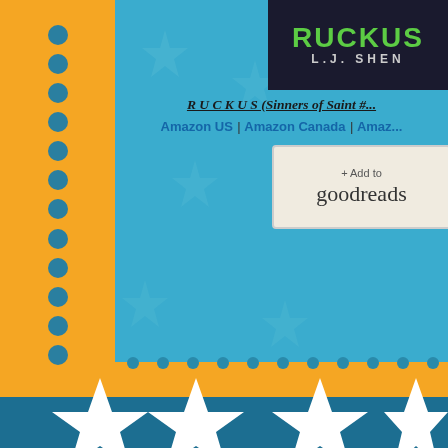[Figure (illustration): Book cover for RUCKUS by LJ Shen — dark background with green title text and grey author name]
R U C K U S (Sinners of Saint #...
Amazon US | Amazon Canada | Amaz...
[Figure (illustration): Add to Goodreads button]
[Figure (illustration): Decorative star banner with white stars on blue stripe and orange background]
About L.J. She...
[Figure (logo): L.J. Shen author logo — circular design with LJ monogram and pink crown]
L.J. Shen is an Intern... author of Contempor... Adult novels. She live... with her husband, you...